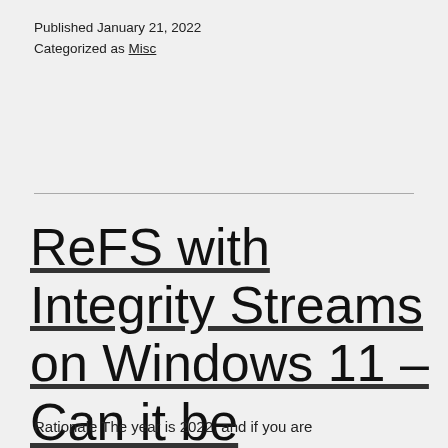Published January 21, 2022
Categorized as Misc
ReFS with Integrity Streams on Windows 11 – Can it be trusted?
Rationale The year is 2022, and if you are